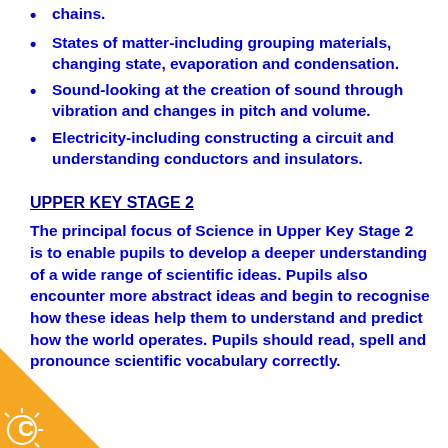chains.
States of matter-including grouping materials, changing state, evaporation and condensation.
Sound-looking at the creation of sound through vibration and changes in pitch and volume.
Electricity-including constructing a circuit and understanding conductors and insulators.
UPPER KEY STAGE 2
The principal focus of Science in Upper Key Stage 2 is to enable pupils to develop a deeper understanding of a wide range of scientific ideas. Pupils also encounter more abstract ideas and begin to recognise how these ideas help them to understand and predict how the world operates. Pupils should read, spell and pronounce scientific vocabulary correctly.